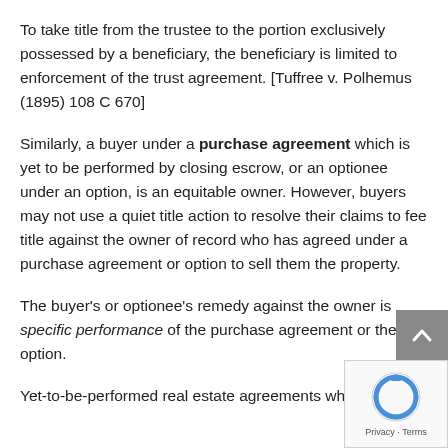To take title from the trustee to the portion exclusively possessed by a beneficiary, the beneficiary is limited to enforcement of the trust agreement. [Tuffree v. Polhemus (1895) 108 C 670]
Similarly, a buyer under a purchase agreement which is yet to be performed by closing escrow, or an optionee under an option, is an equitable owner. However, buyers may not use a quiet title action to resolve their claims to fee title against the owner of record who has agreed under a purchase agreement or option to sell them the property.
The buyer's or optionee's remedy against the owner is specific performance of the purchase agreement or the option.
Yet-to-be-performed real estate agreements which are